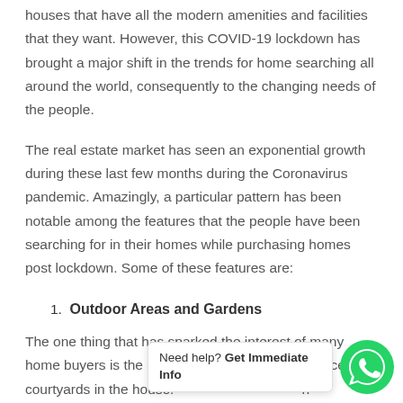houses that have all the modern amenities and facilities that they want. However, this COVID-19 lockdown has brought a major shift in the trends for home searching all around the world, consequently to the changing needs of the people.
The real estate market has seen an exponential growth during these last few months during the Coronavirus pandemic. Amazingly, a particular pattern has been notable among the features that the people have been searching for in their homes while purchasing homes post lockdown. Some of these features are:
1. Outdoor Areas and Gardens
The one thing that has sparked the interest of many home buyers is the outdoor areas, balconies or nice courtyards in the house. During the lockdown, many people were forced to stay at home stuck within four walls with no place to go out or walk around. This has